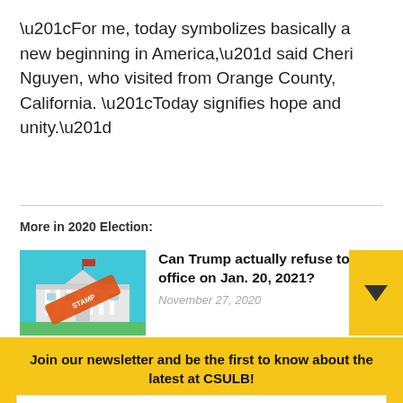“For me, today symbolizes basically a new beginning in America,” said Cheri Nguyen, who visited from Orange County, California. “Today signifies hope and unity.”
More in 2020 Election:
[Figure (illustration): Illustration of the White House with a red diagonal stamp/banner over it, on a teal/cyan background]
Can Trump actually refuse to leave office on Jan. 20, 2021?
November 27, 2020
Join our newsletter and be the first to know about the latest at CSULB!
Email Address
Subscribe